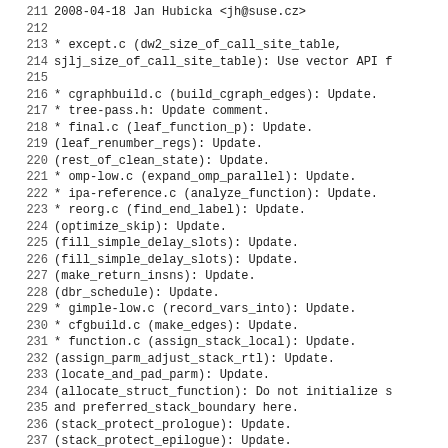211 2008-04-18  Jan Hubicka  <jh@suse.cz>
212
213         * except.c (dw2_size_of_call_site_table,
214         sjlj_size_of_call_site_table): Use vector API f
215
216         * cgraphbuild.c (build_cgraph_edges): Update.
217         * tree-pass.h: Update comment.
218         * final.c (leaf_function_p): Update.
219         (leaf_renumber_regs): Update.
220         (rest_of_clean_state): Update.
221         * omp-low.c (expand_omp_parallel): Update.
222         * ipa-reference.c (analyze_function): Update.
223         * reorg.c (find_end_label): Update.
224         (optimize_skip): Update.
225         (fill_simple_delay_slots): Update.
226         (fill_simple_delay_slots): Update.
227         (make_return_insns): Update.
228         (dbr_schedule): Update.
229         * gimple-low.c (record_vars_into): Update.
230         * cfgbuild.c (make_edges): Update.
231         * function.c (assign_stack_local): Update.
232         (assign_parm_adjust_stack_rtl): Update.
233         (locate_and_pad_parm): Update.
234         (allocate_struct_function): Do not initialize s
235         and preferred_stack_boundary here.
236         (stack_protect_prologue): Update.
237         (stack_protect_epilogue): Update.
238         (expand_function_start): Initialize stack_align
239         preferred_stack_boundary and max_jumptable_ents
240         (expand_function_end): Update.
241         (free_after_compilation): Do not NULLify epilog
242         * function.h (struct rtl_data): Add stack_prote